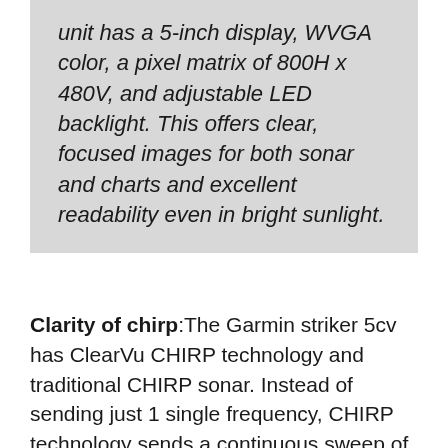unit has a 5-inch display, WVGA color, a pixel matrix of 800H x 480V, and adjustable LED backlight. This offers clear, focused images for both sonar and charts and excellent readability even in bright sunlight.
Clarity of chirp:The Garmin striker 5cv has ClearVu CHIRP technology and traditional CHIRP sonar. Instead of sending just 1 single frequency, CHIRP technology sends a continuous sweep of frequencies,